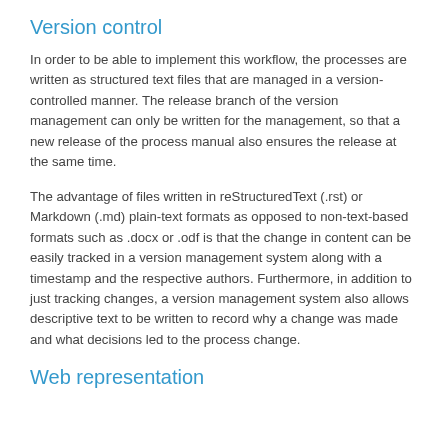Version control
In order to be able to implement this workflow, the processes are written as structured text files that are managed in a version-controlled manner. The release branch of the version management can only be written for the management, so that a new release of the process manual also ensures the release at the same time.
The advantage of files written in reStructuredText (.rst) or Markdown (.md) plain-text formats as opposed to non-text-based formats such as .docx or .odf is that the change in content can be easily tracked in a version management system along with a timestamp and the respective authors. Furthermore, in addition to just tracking changes, a version management system also allows descriptive text to be written to record why a change was made and what decisions led to the process change.
Web representation